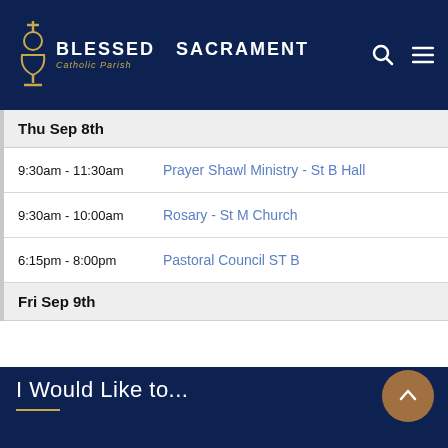BLESSED SACRAMENT Catholic Parish
| Time | Event |
| --- | --- |
| Thu Sep 8th |  |
| 9:30am - 11:30am | Prayer Shawl Ministry - St B Hall |
| 9:30am - 10:00am | Rosary - St M Church |
| 6:15pm - 8:00pm | Pastoral Council ST B |
| Fri Sep 9th |  |
I Would Like to...
Study the Bible & Catholic Catechism
Register with the Parish
Schedule a Baptism
Ask about Adult Confirmation - RCIA